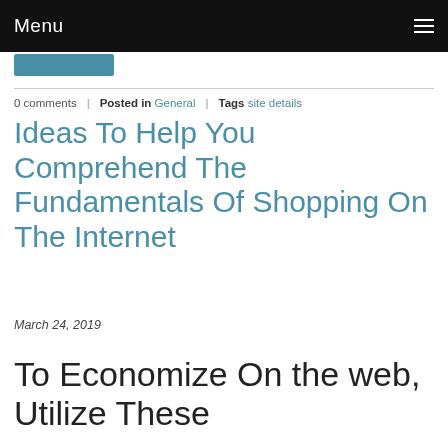Menu
0 comments   Posted in General   Tags site details
Ideas To Help You Comprehend The Fundamentals Of Shopping On The Internet
March 24, 2019
To Economize On the web, Utilize These